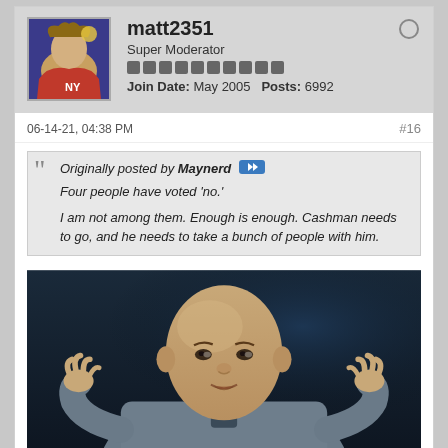matt2351
Super Moderator
Join Date: May 2005   Posts: 6992
06-14-21, 04:38 PM
#16
Originally posted by Maynerd
Four people have voted 'no.'

I am not among them. Enough is enough. Cashman needs to go, and he needs to take a bunch of people with him.
[Figure (photo): A bald man in a grey suit gesturing with both hands, appearing to be mid-sentence, resembling Dr. Evil from Austin Powers]